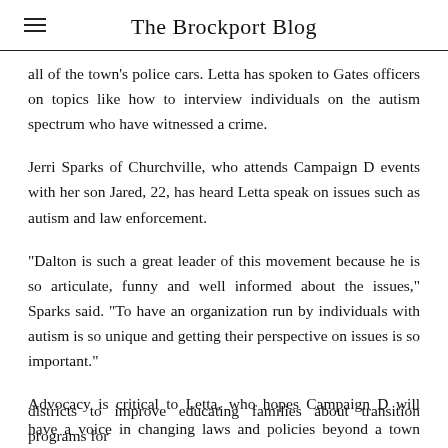The Brockport Blog
all of the town's police cars. Letta has spoken to Gates officers on topics like how to interview individuals on the autism spectrum who have witnessed a crime.
Jerri Sparks of Churchville, who attends Campaign D events with her son Jared, 22, has heard Letta speak on issues such as autism and law enforcement.
“Dalton is such a great leader of this movement because he is so articulate, funny and well informed about the issues,” Sparks said. “To have an organization run by individuals with autism is so unique and getting their perspective on issues is so important.”
Advocacy is critical to Letta, who hopes Campaign D will have a voice in changing laws and policies beyond a town level. One of his goals is for school
districts to improve educating families about transition programs for